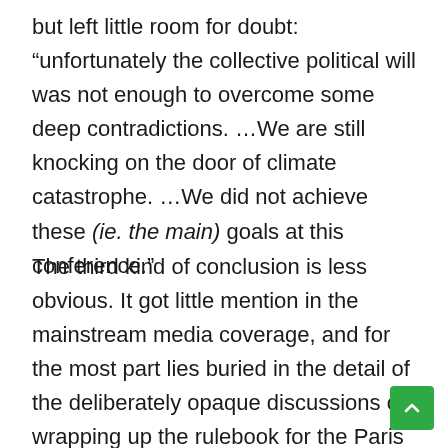but left little room for doubt: “unfortunately the collective political will was not enough to overcome some deep contradictions. …We are still knocking on the door of climate catastrophe. …We did not achieve these (ie. the main) goals at this conference.”
The third kind of conclusion is less obvious. It got little mention in the mainstream media coverage, and for the most part lies buried in the detail of the deliberately opaque discussions on wrapping up the rulebook for the Paris Agreement and related “technical” aspects. Here we find the moves made by governments and the private